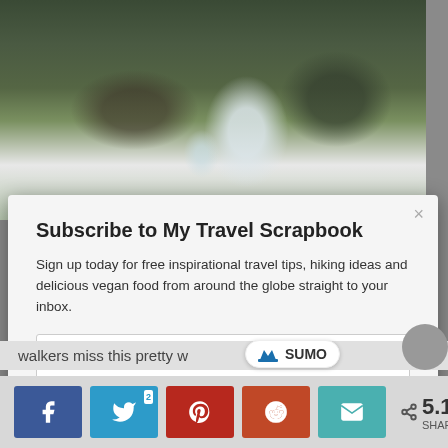[Figure (photo): Waterfall flowing over mossy rocks, nature/hiking travel photo]
Subscribe to My Travel Scrapbook
Sign up today for free inspirational travel tips, hiking ideas and delicious vegan food from around the globe straight to your inbox.
Enter your Name
Enter your Email
SUBSCRIBE NOW
walkers miss this pretty w
[Figure (logo): SUMO badge with crown icon]
< 5.1K SHARES